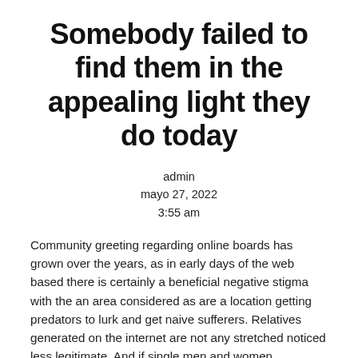Somebody failed to find them in the appealing light they do today
admin
mayo 27, 2022
3:55 am
Community greeting regarding online boards has grown over the years, as in early days of the web based there is certainly a beneficial negative stigma with the an area considered as are a location getting predators to lurk and get naive sufferers. Relatives generated on the internet are not any stretched noticed less legitimate. And if single men and women